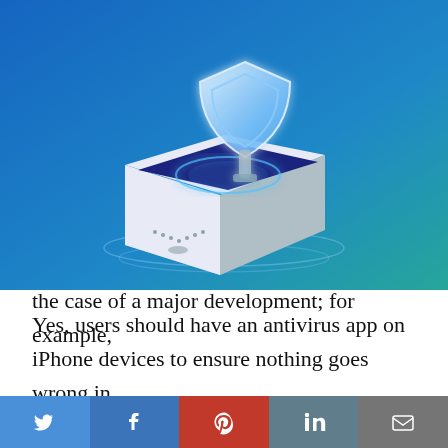[Figure (illustration): Isometric illustration of a smartphone with a blue glowing security shield floating above it, on a blue-to-teal gradient background. The phone is shown from an angled perspective with shadow layers beneath it.]
Yes, users should have an antivirus app on iPhone devices to ensure nothing goes wrong in the case of a major development; for example,
[Figure (infographic): Social media sharing bar with Twitter (blue), Facebook (blue), Pinterest (red), LinkedIn (blue), and Email (gray) buttons arranged horizontally across the bottom of the page.]